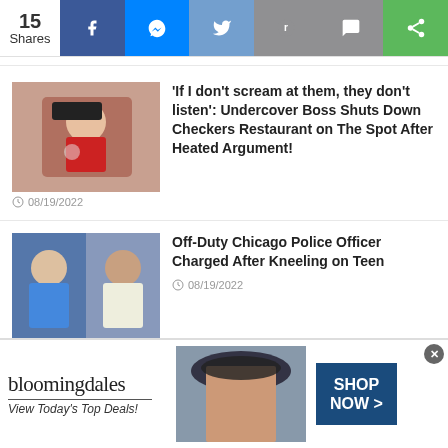15 Shares — social share bar with Facebook, Messenger, Twitter, Reddit, SMS, other icons
[Figure (photo): Thumbnail of man in red shirt on phone wearing baseball cap]
'If I don't scream at them, they don't listen': Undercover Boss Shuts Down Checkers Restaurant on The Spot After Heated Argument!
08/19/2022
[Figure (photo): Thumbnail showing two people, one in blue shirt and one in white shirt]
Off-Duty Chicago Police Officer Charged After Kneeling on Teen
08/19/2022
[Figure (photo): Partial thumbnail with infolinks badge]
Woman Cuts Off Boyfriend's Penis After He
[Figure (infographic): Bloomingdales advertisement banner: 'View Today's Top Deals!' with SHOP NOW button and woman in hat]